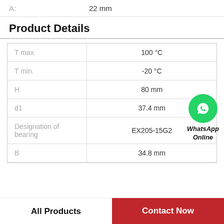| Property | Value |
| --- | --- |
| A: | 22 mm |
Product Details
| Parameter | Value |
| --- | --- |
| T max. | 100 °C |
| T min. | -20 °C |
| H | 80 mm |
| d1 | 37.4 mm |
| Designation of bearing | EX205-15G2 |
| B | 34.8 mm |
WhatsApp Online
All Products | Contact Now